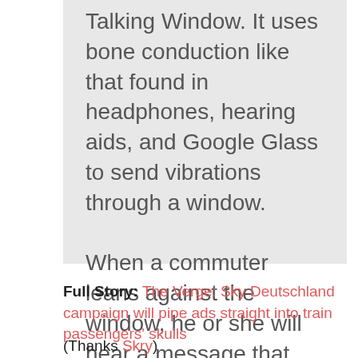Talking Window. It uses bone conduction like that found in headphones, hearing aids, and Google Glass to send vibrations through a window.

When a commuter leans against the window, he or she will hear a message that nobody else can, asking if they're bored and want to download Sky's mobile app.
Full Story: The Verge: Sky Deutschland campaign will pipe ads straight into train passengers' skulls
(Thanks Skry)